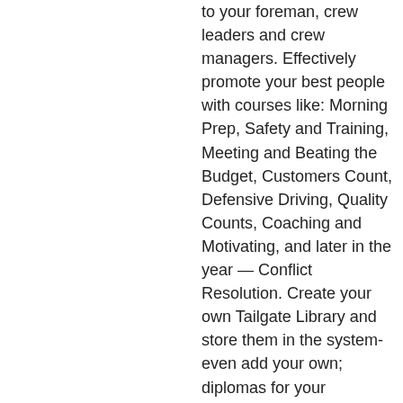to your foreman, crew leaders and crew managers. Effectively promote your best people with courses like: Morning Prep, Safety and Training, Meeting and Beating the Budget, Customers Count, Defensive Driving, Quality Counts, Coaching and Motivating, and later in the year — Conflict Resolution. Create your own Tailgate Library and store them in the system-even add your own; diplomas for your employees that pass all the courses.
Mini X and Conflict Resolution
To obtain your membership discount code to access an additional 5% savings off your rates*
For more information visit LS Training www.gogreenius.com or